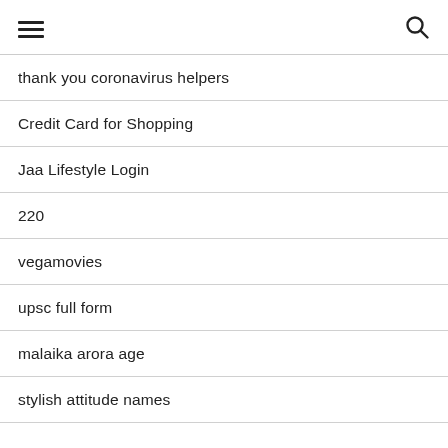thank you coronavirus helpers
Credit Card for Shopping
Jaa Lifestyle Login
220
vegamovies
upsc full form
malaika arora age
stylish attitude names